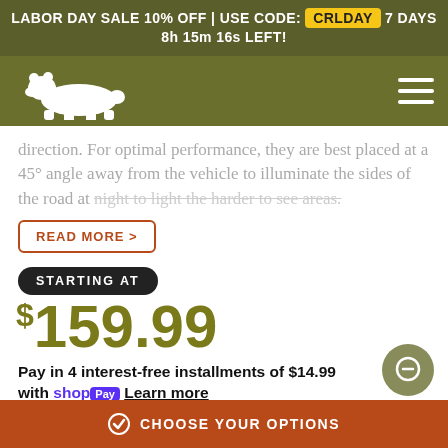LABOR DAY SALE 10% OFF | USE CODE: CRLDAY 7 DAYS 8h 15m 16s LEFT!
[Figure (logo): White bear silhouette logo on olive/khaki green navigation bar with hamburger menu icon]
direction. For optimal performance, they are best placed at a 45° angle away from the vehicle to illuminate the sides of the road at night to light the harder to see areas.
READ MORE >
STARTING AT
$159.99
Pay in 4 interest-free installments of $14.99 with shop Pay Learn more